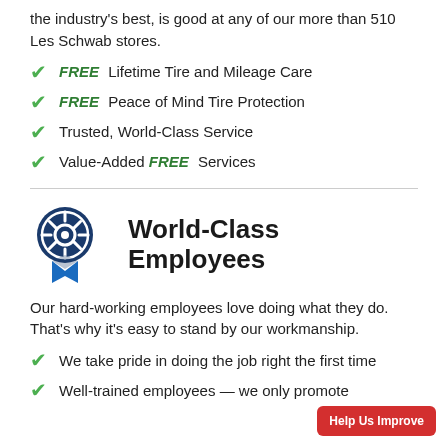the industry's best, is good at any of our more than 510 Les Schwab stores.
FREE Lifetime Tire and Mileage Care
FREE Peace of Mind Tire Protection
Trusted, World-Class Service
Value-Added FREE Services
World-Class Employees
Our hard-working employees love doing what they do. That's why it's easy to stand by our workmanship.
We take pride in doing the job right the first time
Well-trained employees — we only promote